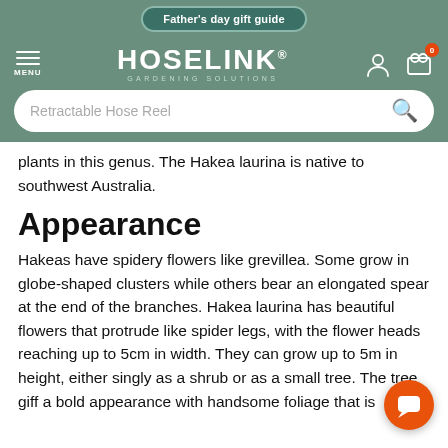Father's day gift guide
[Figure (logo): Hoselink Gardening Solutions logo in white on green background with hamburger menu, user icon, and cart icon with badge showing 0]
[Figure (screenshot): Search bar with placeholder text 'Retractable Hose Reel' and search icon]
plants in this genus. The Hakea laurina is native to southwest Australia.
Appearance
Hakeas have spidery flowers like grevillea. Some grow in globe-shaped clusters while others bear an elongated spear at the end of the branches. Hakea laurina has beautiful flowers that protrude like spider legs, with the flower heads reaching up to 5cm in width. They can grow up to 5m in height, either singly as a shrub or as a small tree. The tree gi…ff a bold appearance with handsome foliage that is